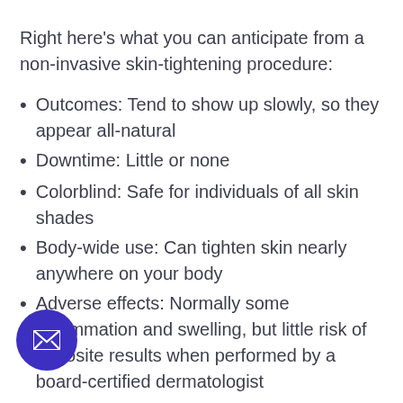Right here's what you can anticipate from a non-invasive skin-tightening procedure:
Outcomes: Tend to show up slowly, so they appear all-natural
Downtime: Little or none
Colorblind: Safe for individuals of all skin shades
Body-wide use: Can tighten skin nearly anywhere on your body
Adverse effects: Normally some inflammation and swelling, but little risk of opposite results when performed by a board-certified dermatologist
Time dedication: Most procedures take 1 hour or less
Discomfort: May have some pain throughout the treatment, however that's